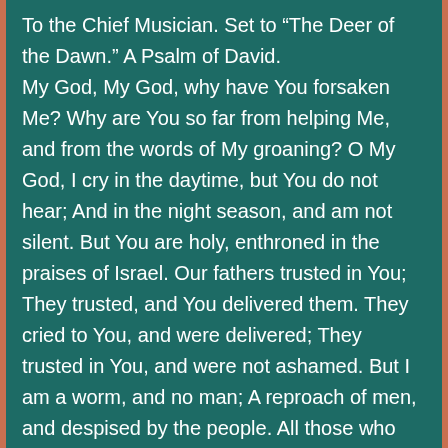To the Chief Musician. Set to “The Deer of the Dawn.” A Psalm of David. My God, My God, why have You forsaken Me? Why are You so far from helping Me, and from the words of My groaning? O My God, I cry in the daytime, but You do not hear; And in the night season, and am not silent. But You are holy, enthroned in the praises of Israel. Our fathers trusted in You; They trusted, and You delivered them. They cried to You, and were delivered; They trusted in You, and were not ashamed. But I am a worm, and no man; A reproach of men, and despised by the people. All those who see Me ridicule Me; They shoot out the lip, they shake the head, saying, “He trusted in the Lord, let Him rescue Him; Let Him deliver Him, since He delights in Him!” But You are He who took Me out of the womb; You made Me trust while on My mother’s breasts. I was cast upon You from